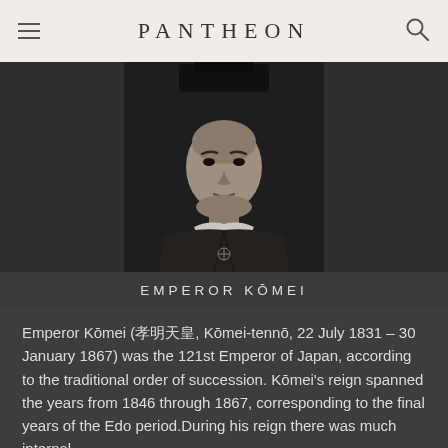PANTHEON
[Figure (photo): Black and white portrait photograph/painting of Emperor Kōmei, a young Japanese man wearing traditional imperial robes and a court hat.]
EMPEROR KŌMEI
Emperor Kōmei (孝明天皇, Kōmei-tennō, 22 July 1831 – 30 January 1867) was the 121st Emperor of Japan, according to the traditional order of succession. Kōmei's reign spanned the years from 1846 through 1867, corresponding to the final years of the Edo period.During his reign there was much internal